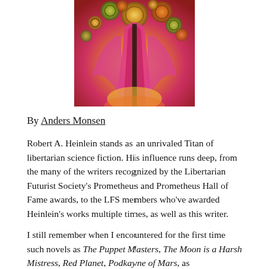[Figure (illustration): Colorful illustrated artwork featuring a figure with flowing pink/magenta drapery and circular decorative elements in warm yellows, oranges, and greens against a vivid orange-red background]
By Anders Monsen
Robert A. Heinlein stands as an unrivaled Titan of libertarian science fiction. His influence runs deep, from the many of the writers recognized by the Libertarian Futurist Society’s Prometheus and Prometheus Hall of Fame awards, to the LFS members who’ve awarded Heinlein’s works multiple times, as well as this writer.
I still remember when I encountered for the first time such novels as The Puppet Masters, The Moon is a Harsh Mistress, Red Planet, Podkayne of Mars, as